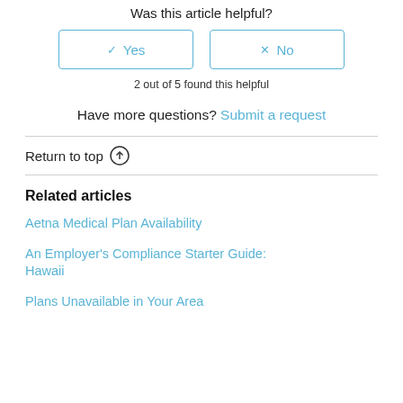Was this article helpful?
[Figure (other): Yes and No buttons with checkbox/x icons]
2 out of 5 found this helpful
Have more questions? Submit a request
Return to top ↑
Related articles
Aetna Medical Plan Availability
An Employer's Compliance Starter Guide: Hawaii
Plans Unavailable in Your Area